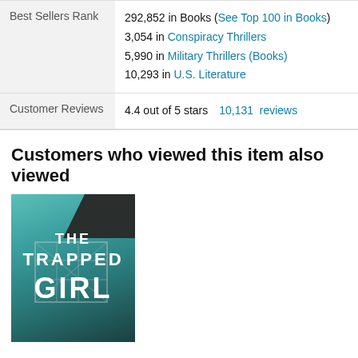|  |  |
| --- | --- |
| Best Sellers Rank | 292,852 in Books (See Top 100 in Books)
3,054 in Conspiracy Thrillers
5,990 in Military Thrillers (Books)
10,293 in U.S. Literature |
| Customer Reviews | 4.4 out of 5 stars  10,131  reviews |
Customers who viewed this item also viewed
[Figure (photo): Book cover of 'The Trapped Girl' with teal/turquoise water background and dark silhouette of trees at top]